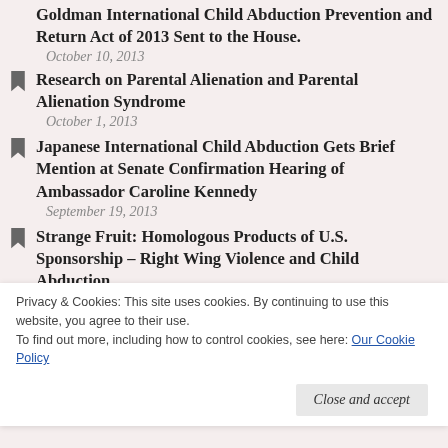Goldman International Child Abduction Prevention and Return Act of 2013 Sent to the House.
October 10, 2013
Research on Parental Alienation and Parental Alienation Syndrome
October 1, 2013
Japanese International Child Abduction Gets Brief Mention at Senate Confirmation Hearing of Ambassador Caroline Kennedy
September 19, 2013
Strange Fruit: Homologous Products of U.S. Sponsorship – Right Wing Violence and Child Abduction
September 16, 2013
Privacy & Cookies: This site uses cookies. By continuing to use this website, you agree to their use.
To find out more, including how to control cookies, see here: Our Cookie Policy
"Eppur, si muove." "And yet, it moves." Opaque,